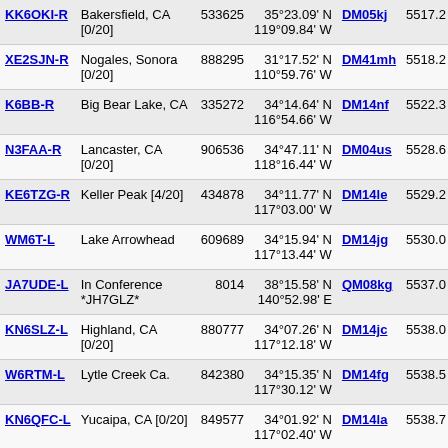| Callsign | Location | Node | Coordinates | Grid | Freq |
| --- | --- | --- | --- | --- | --- |
| KK6OKI-R | Bakersfield, CA [0/20] | 533625 | 35°23.09' N 119°09.84' W | DM05kj | 5517.2 |
| XE2SJN-R | Nogales, Sonora [0/20] | 888295 | 31°17.52' N 110°59.76' W | DM41mh | 5518.2 |
| K6BB-R | Big Bear Lake, CA | 335272 | 34°14.64' N 116°54.66' W | DM14nf | 5522.3 |
| N3FAA-R | Lancaster, CA [0/20] | 906536 | 34°47.11' N 118°16.44' W | DM04us | 5528.6 |
| KE6TZG-R | Keller Peak [4/20] | 434878 | 34°11.77' N 117°03.00' W | DM14le | 5529.2 |
| WM6T-L | Lake Arrowhead | 609689 | 34°15.94' N 117°13.44' W | DM14jg | 5530.0 |
| JA7UDE-L | In Conference *JH7GLZ* | 8014 | 38°15.58' N 140°52.98' E | QM08kg | 5537.0 |
| KN6SLZ-L | Highland, CA [0/20] | 880777 | 34°07.26' N 117°12.18' W | DM14jc | 5538.0 |
| W6RTM-L | Lytle Creek Ca. | 842380 | 34°15.35' N 117°30.12' W | DM14fg | 5538.5 |
| KN6QFC-L | Yucaipa, CA [0/20] | 849577 | 34°01.92' N 117°02.40' W | DM14la | 5538.7 |